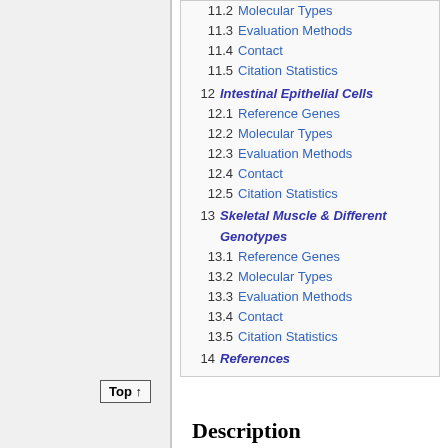11.2 Molecular Types
11.3 Evaluation Methods
11.4 Contact
11.5 Citation Statistics
12 Intestinal Epithelial Cells
12.1 Reference Genes
12.2 Molecular Types
12.3 Evaluation Methods
12.4 Contact
12.5 Citation Statistics
13 Skeletal Muscle & Different Genotypes
13.1 Reference Genes
13.2 Molecular Types
13.3 Evaluation Methods
13.4 Contact
13.5 Citation Statistics
14 References
Top ↑
Description